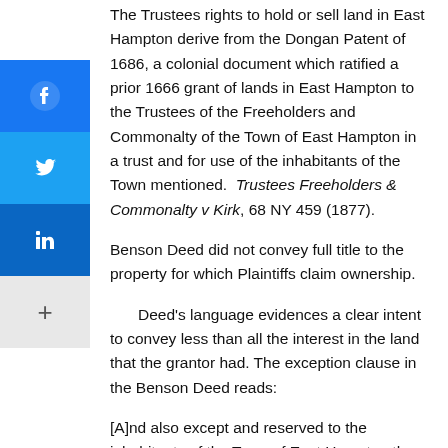The Trustees rights to hold or sell land in East Hampton derive from the Dongan Patent of 1686, a colonial document which ratified a prior 1666 grant of lands in East Hampton to the Trustees of the Freeholders and Commonalty of the Town of East Hampton in a trust and for use of the inhabitants of the Town mentioned. Trustees Freeholders & Commonalty v Kirk, 68 NY 459 (1877).
Benson Deed did not convey full title to the property for which Plaintiffs claim ownership.
Deed's language evidences a clear intent to convey less than all the interest in the land that the grantor had. The exception clause in the Benson Deed reads:
[A]nd also except and reserved to the inhabitants of the Town of East Hampton the right to land fish, boats, and netts (sic) to spread the netts (sic) in the adjacent sands